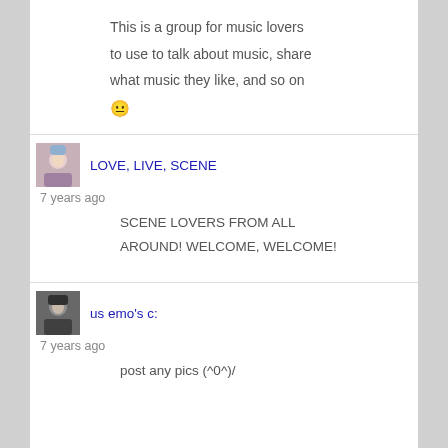This is a group for music lovers to use to talk about music, share what music they like, and so on 😐
LOVE, LIVE, SCENE
7 years ago
SCENE LOVERS FROM ALL AROUND! WELCOME, WELCOME!
us emo's c:
7 years ago
post any pics (^0^)/